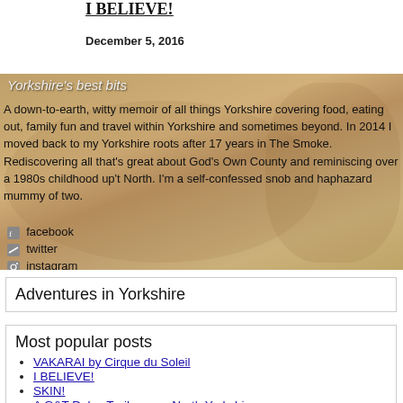I BELIEVE!
December 5, 2016
[Figure (photo): Collage of photos showing a woman outdoors with Yorkshire landscape background. Text overlaid includes 'Yorkshire's best bits' subtitle and blog description about being a down-to-earth, witty memoir of all things Yorkshire covering food, eating out, family fun and travel within Yorkshire and sometimes beyond. In 2014 I moved back to my Yorkshire roots after 17 years in The Smoke. Rediscovering all that's great about God's Own County and reminiscing over a 1980s childhood up't North. I'm a self-confessed snob and haphazard mummy of two. Social links: facebook, twitter, instagram.]
Adventures in Yorkshire
Most popular posts
VAKARAI by Cirque du Soleil
I BELIEVE!
SKIN!
A G&T Dales Trail across North Yorkshire
Full fat content placeholder item with fro...